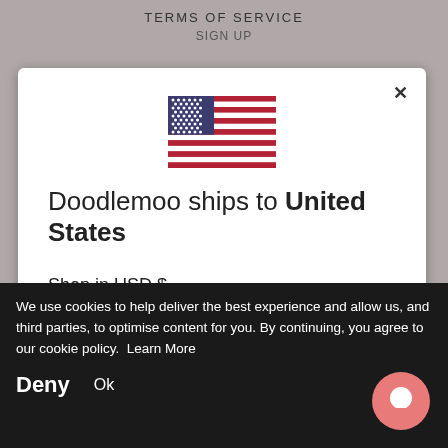TERMS OF SERVICE
SIGN UP
[Figure (screenshot): Modal dialog showing US flag and shipping info for Doodlemoo. Contains text 'Doodlemoo ships to United States', 'Shop in USD $', 'Get shipping options for United States', a blue button, and a close X button.]
We use cookies to help deliver the best experience and allow us, and third parties, to optimise content for you. By continuing, you agree to our cookie policy.  Learn More
Deny
Ok